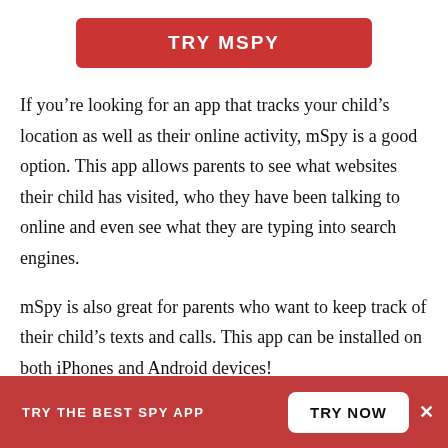[Figure (other): Red button with white text reading TRY MSPY]
If you’re looking for an app that tracks your child’s location as well as their online activity, mSpy is a good option. This app allows parents to see what websites their child has visited, who they have been talking to online and even see what they are typing into search engines.
mSpy is also great for parents who want to keep track of their child’s texts and calls. This app can be installed on both iPhones and Android devices!
TRY THE BEST SPY APP   TRY NOW   X